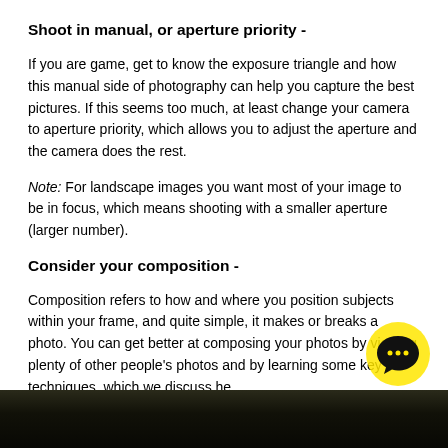Shoot in manual, or aperture priority -
If you are game, get to know the exposure triangle and how this manual side of photography can help you capture the best pictures. If this seems too much, at least change your camera to aperture priority, which allows you to adjust the aperture and the camera does the rest.
Note: For landscape images you want most of your image to be in focus, which means shooting with a smaller aperture (larger number).
Consider your composition -
Composition refers to how and where you position subjects within your frame, and quite simple, it makes or breaks a photo. You can get better at composing your photos by viewing plenty of other people's photos and by learning some key techniques, which we discuss he
[Figure (photo): Dark photograph of trees against sky, shown as a strip at the bottom of the page]
[Figure (illustration): Yellow circle with a chat bubble icon containing three dots, overlaid on the bottom-right area of the page]